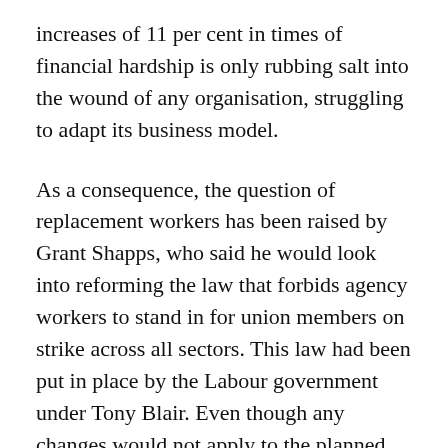increases of 11 per cent in times of financial hardship is only rubbing salt into the wound of any organisation, struggling to adapt its business model.
As a consequence, the question of replacement workers has been raised by Grant Shapps, who said he would look into reforming the law that forbids agency workers to stand in for union members on strike across all sectors. This law had been put in place by the Labour government under Tony Blair. Even though any changes would not apply to the planned rail strikes this month, it raises an interesting question: Who actually owns the job?
Forbidding replacement hiring and banning agency workers on